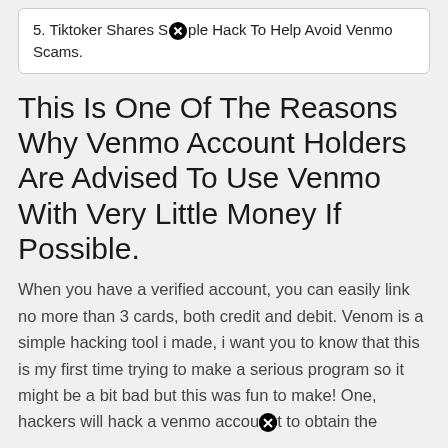5. Tiktoker Shares Simple Hack To Help Avoid Venmo Scams.
This Is One Of The Reasons Why Venmo Account Holders Are Advised To Use Venmo With Very Little Money If Possible.
When you have a verified account, you can easily link no more than 3 cards, both credit and debit. Venom is a simple hacking tool i made, i want you to know that this is my first time trying to make a serious program so it might be a bit bad but this was fun to make! One, hackers will hack a venmo account to obtain the